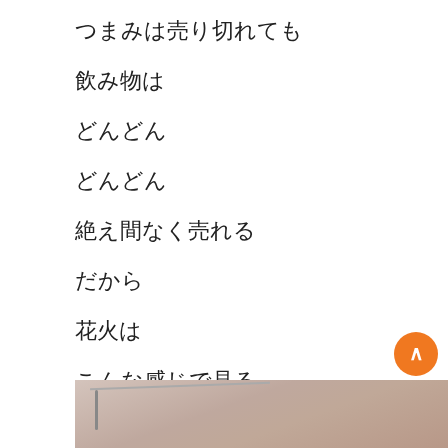つまみは売り切れても
飲み物は
どんどん
どんどん
絶え間なく売れる
だから
花火は
こんな感じで見る
[Figure (photo): Indoor tent or canopy ceiling with metal poles visible, beige/pink fabric]